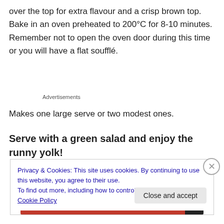over the top for extra flavour and a crisp brown top. Bake in an oven preheated to 200°C for 8-10 minutes. Remember not to open the oven door during this time or you will have a flat soufflé.
Advertisements
Makes one large serve or two modest ones.
Serve with a green salad and enjoy the runny yolk!
Privacy & Cookies: This site uses cookies. By continuing to use this website, you agree to their use.
To find out more, including how to control cookies, see here: Cookie Policy